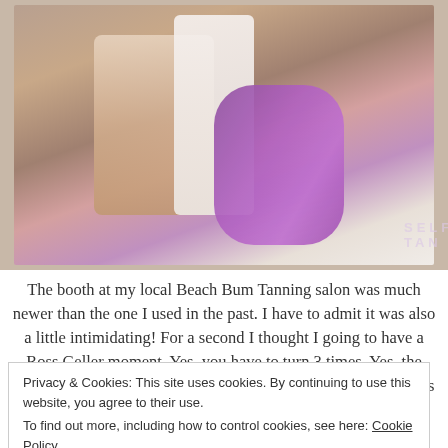[Figure (photo): Photo of several self-tanning/spray tan products including a Victoria's Secret Self Tan purple bottle, a Faux Tan Face product in white tube, and rose gold bottles, laid on a light fabric surface.]
The booth at my local Beach Bum Tanning salon was much newer than the one I used in the past. I have to admit it was also a little intimidating! For a second I thought I going to have a Ross Geller moment. Yes, you have to turn 3 times. Yes, the spray is startling. Yes, it is a little claustrophobic. However, it is totally worth it! The Mystic spray is ultra fine, has a light
Privacy & Cookies: This site uses cookies. By continuing to use this website, you agree to their use.
To find out more, including how to control cookies, see here: Cookie Policy
Close and accept
VS Tanning Spray